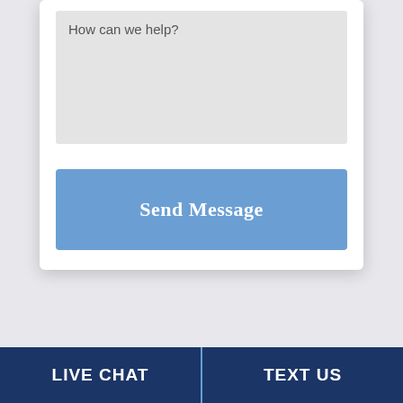[Figure (screenshot): A web form card with a text area placeholder saying 'How can we help?' and a blue 'Send Message' button below it, on a light grey background.]
How can we help?
Send Message
LIVE CHAT
TEXT US